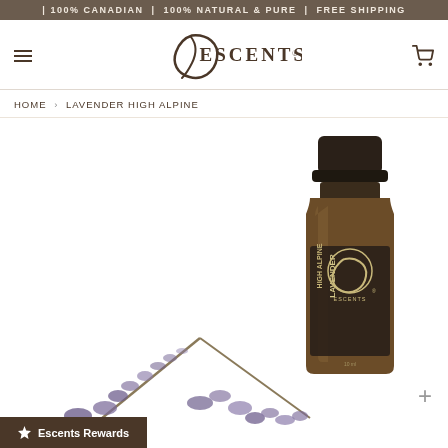| 100% CANADIAN | 100% NATURAL & PURE | FREE SHIPPING
[Figure (logo): Escents logo with hamburger menu and cart icon navigation bar]
HOME › LAVENDER HIGH ALPINE
[Figure (photo): A small amber glass bottle of Escents High Alpine Lavender essential oil, with dried lavender flowers in the foreground on a white background]
Escents Rewards